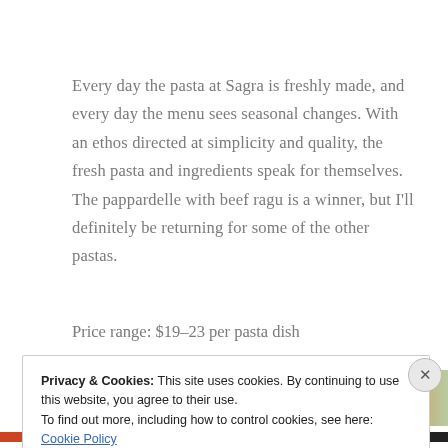Every day the pasta at Sagra is freshly made, and every day the menu sees seasonal changes. With an ethos directed at simplicity and quality, the fresh pasta and ingredients speak for themselves. The pappardelle with beef ragu is a winner, but I'll definitely be returning for some of the other pastas.
Price range: $19–23 per pasta dish
[Figure (photo): Two food photos side by side: left shows pasta dish with white cheese and greens on dark background, right shows a pasta or bread item on wooden surface]
Privacy & Cookies: This site uses cookies. By continuing to use this website, you agree to their use.
To find out more, including how to control cookies, see here: Cookie Policy
Close and accept